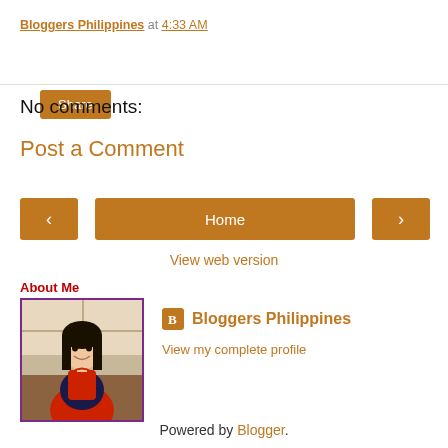Bloggers Philippines at 4:33 AM
Share
No comments:
Post a Comment
< Home >
View web version
About Me
[Figure (photo): Profile photo of a young woman wearing a red apron, smiling, in a kitchen setting]
Bloggers Philippines
View my complete profile
Powered by Blogger.